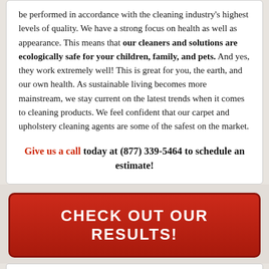be performed in accordance with the cleaning industry's highest levels of quality. We have a strong focus on health as well as appearance. This means that our cleaners and solutions are ecologically safe for your children, family, and pets. And yes, they work extremely well! This is great for you, the earth, and our own health. As sustainable living becomes more mainstream, we stay current on the latest trends when it comes to cleaning products. We feel confident that our carpet and upholstery cleaning agents are some of the safest on the market.
Give us a call today at (877) 339-5464 to schedule an estimate!
CHECK OUT OUR RESULTS!
SERVICES